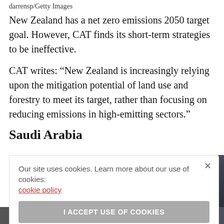darrensp/Getty Images
New Zealand has a net zero emissions 2050 target goal. However, CAT finds its short-term strategies to be ineffective.
CAT writes: “New Zealand is increasingly relying upon the mitigation potential of land use and forestry to meet its target, rather than focusing on reducing emissions in high-emitting sectors.”
Saudi Arabia
Our site uses cookies. Learn more about our use of cookies: cookie policy
I ACCEPT USE OF COOKIES
[Figure (photo): Industrial facility/refinery at night with illuminated structures, chimneys and mechanical equipment, dark blue-grey tones.]